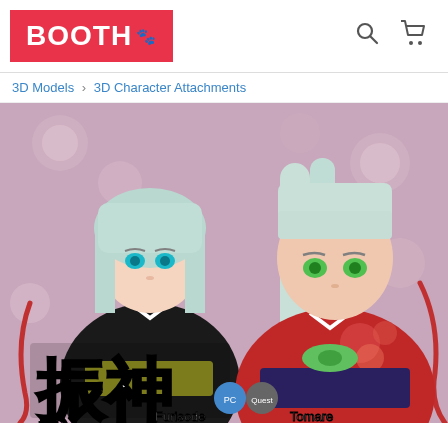BOOTH
3D Models › 3D Character Attachments
[Figure (illustration): Two anime-style 3D character models with silver/white hair wearing Japanese kimono. Left character wears a black furisode with gold obi, right character wears a red furisode with dark obi and green bow. Floral background in pink/red. Japanese text '振神' and '留神' with 'Furisode' and 'Tomare' subtitles visible at the bottom.]